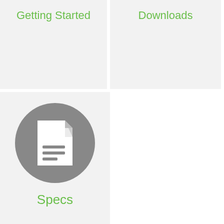Getting Started
Downloads
[Figure (illustration): Document/specs icon — white document with lines on a gray circle background]
Specs
[Figure (illustration): Headset/support icon — white headset with microphone on a green circle background]